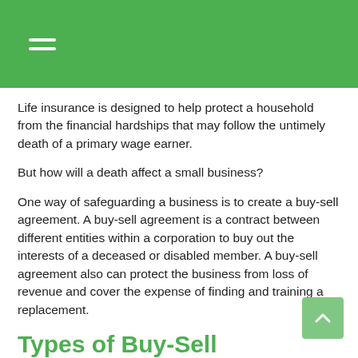Navigation menu header bar
Life insurance is designed to help protect a household from the financial hardships that may follow the untimely death of a primary wage earner.
But how will a death affect a small business?
One way of safeguarding a business is to create a buy-sell agreement. A buy-sell agreement is a contract between different entities within a corporation to buy out the interests of a deceased or disabled member. A buy-sell agreement also can protect the business from loss of revenue and cover the expense of finding and training a replacement.
Types of Buy-Sell Agreements